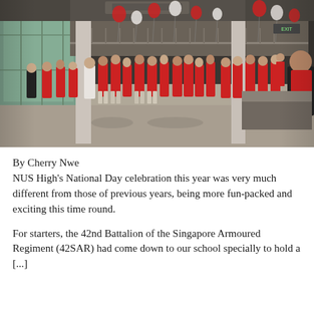[Figure (photo): Students in red shirts gathered in a large indoor school atrium decorated with red and white balloons. Large windows on the left side, pillars throughout the space. Students standing in groups and lines on the floor.]
By Cherry Nwe
NUS High's National Day celebration this year was very much different from those of previous years, being more fun-packed and exciting this time round.
For starters, the 42nd Battalion of the Singapore Armoured Regiment (42SAR) had come down to our school specially to hold a [...]